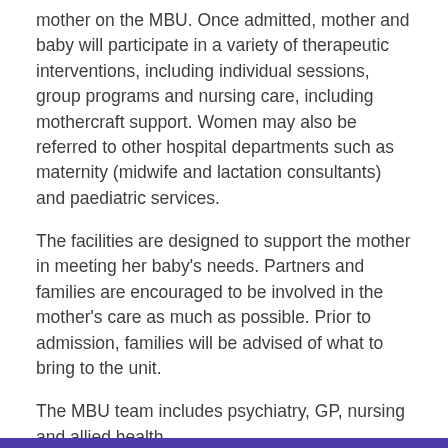mother on the MBU. Once admitted, mother and baby will participate in a variety of therapeutic interventions, including individual sessions, group programs and nursing care, including mothercraft support. Women may also be referred to other hospital departments such as maternity (midwife and lactation consultants) and paediatric services.
The facilities are designed to support the mother in meeting her baby's needs. Partners and families are encouraged to be involved in the mother's care as much as possible. Prior to admission, families will be advised of what to bring to the unit.
The MBU team includes psychiatry, GP, nursing and allied health.